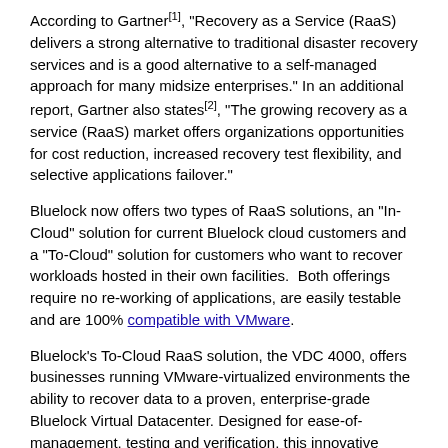According to Gartner[1], "Recovery as a Service (RaaS) delivers a strong alternative to traditional disaster recovery services and is a good alternative to a self-managed approach for many midsize enterprises." In an additional report, Gartner also states[2], "The growing recovery as a service (RaaS) market offers organizations opportunities for cost reduction, increased recovery test flexibility, and selective applications failover."
Bluelock now offers two types of RaaS solutions, an "In-Cloud" solution for current Bluelock cloud customers and a "To-Cloud" solution for customers who want to recover workloads hosted in their own facilities. Both offerings require no re-working of applications, are easily testable and are 100% compatible with VMware.
Bluelock's To-Cloud RaaS solution, the VDC 4000, offers businesses running VMware-virtualized environments the ability to recover data to a proven, enterprise-grade Bluelock Virtual Datacenter. Designed for ease-of-management, testing and verification, this innovative RaaS solution provides effective replication and recovery for production applications.
Bluelock's In-Cloud RaaS solution, the VDC 4500, is the ideal RaaS offering for Bluelock customers with critical workloads that require geographically-separated recovery environments. Bluelock has integrated a complete set of technologies and services that enables a testable and verified disaster recovery implementation. Using innovative replication technology, Bluelock's solution provides effective replication of production applications to a second Bluelock datacenter.